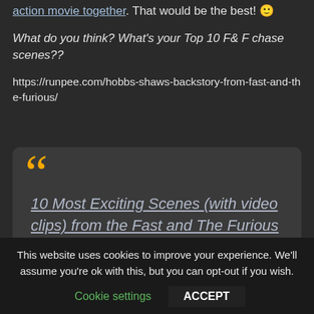action movie together. That would be the best! 😊
What do you think? What's your Top 10 F& F chase scenes??
https://runpee.com/hobbs-shaws-backstory-from-fast-and-the-furious/
[Figure (other): Dark rounded quote box with large orange opening quotation marks and italic underlined link text reading: 10 Most Exciting Scenes (with video clips) from the Fast and The Furious Franchise]
This website uses cookies to improve your experience. We'll assume you're ok with this, but you can opt-out if you wish. Cookie settings  ACCEPT